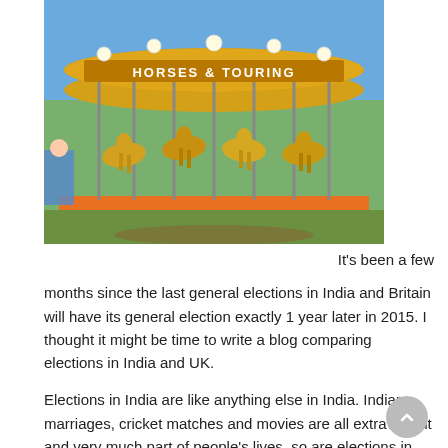[Figure (photo): A colorful carousel (merry-go-round) with golden horses and ornate decorations, photographed outdoors under a blue sky at a fairground.]
It's been a few months since the last general elections in India and Britain will have its general election exactly 1 year later in 2015. I thought it might be time to write a blog comparing elections in India and UK.
Elections in India are like anything else in India. Indian marriages, cricket matches and movies are all extravagant and very much part of people's lives, so are elections in India.
Elections are won based on power, money, religion, caste and people. One can only wonder how much of that money can be saved and spent...